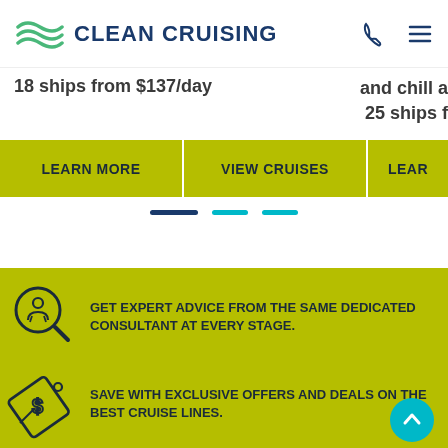CLEAN CRUISING
18 ships from $137/day
and chill a... 25 ships f...
LEARN MORE
VIEW CRUISES
LEAR...
GET EXPERT ADVICE FROM THE SAME DEDICATED CONSULTANT AT EVERY STAGE.
SAVE WITH EXCLUSIVE OFFERS AND DEALS ON THE BEST CRUISE LINES.